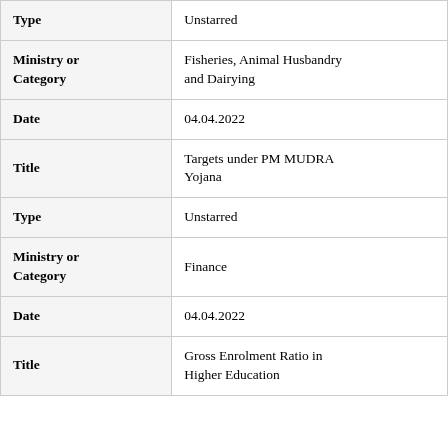| Field | Value |
| --- | --- |
| Type | Unstarred |
| Ministry or Category | Fisheries, Animal Husbandry and Dairying |
| Date | 04.04.2022 |
| Title | Targets under PM MUDRA Yojana |
| Type | Unstarred |
| Ministry or Category | Finance |
| Date | 04.04.2022 |
| Title | Gross Enrolment Ratio in Higher Education |